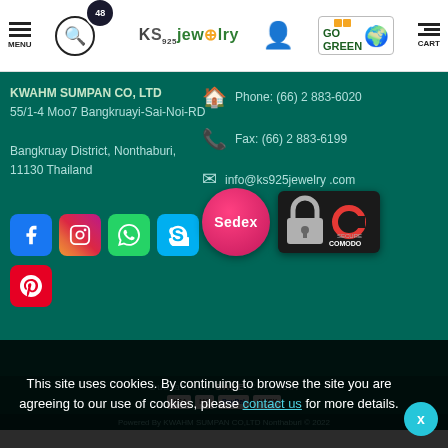[Figure (screenshot): Navigation bar with menu, search, timer badge, KS Jewelry logo, user icon, Go Green badge, and cart icon]
KWAHM SUMPAN CO, LTD
55/1-4 Moo7 Bangkruayi-Sai-Noi-RD
Bangkruay District, Nonthaburi, 11130 Thailand
[Figure (infographic): Social media icons: Facebook, Instagram, WhatsApp, Skype, Pinterest]
Phone: (66) 2 883-6020
Fax: (66) 2 883-6199
info@ks925jewelry .com
[Figure (logo): Sedex badge (red circle) and Comodo Secure badge (lock icon with Comodo text)]
Guaranteed SAFE Checkout
Powered By KWAHM SUMPAN CO,LTD Nonthaburi © 2022
This site uses cookies. By continuing to browse the site you are agreeing to our use of cookies, please contact us for more details.